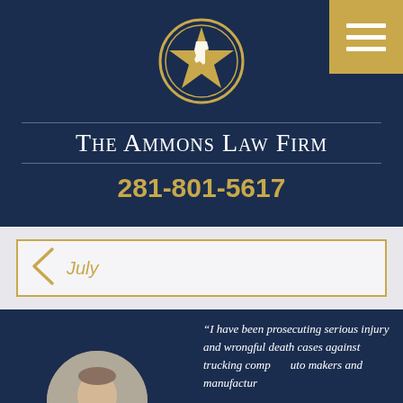[Figure (logo): The Ammons Law Firm logo: gold star in a circle with Texas state outline, on dark navy background]
The Ammons Law Firm
281-801-5617
July
“I have been prosecuting serious injury and wrongful death cases against trucking comp[...] auto makers and manufactur[ers]...
[Figure (photo): Circular headshot photo of a man in a suit, the attorney]
... Text Us Now